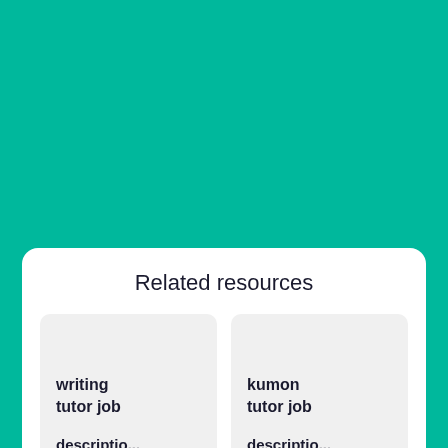Related resources
writing tutor job description
kumon tutor job description